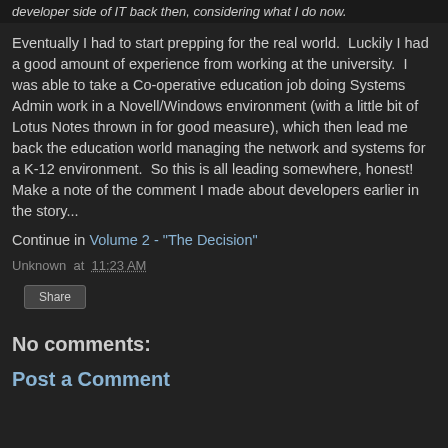developer side of IT back then, considering what I do now.
Eventually I had to start prepping for the real world.  Luckily I had a good amount of experience from working at the university.  I was able to take a Co-operative education job doing Systems Admin work in a Novell/Windows environment (with a little bit of Lotus Notes thrown in for good measure), which then lead me back the education world managing the network and systems for a K-12 environment.  So this is all leading somewhere, honest!  Make a note of the comment I made about developers earlier in the story...
Continue in Volume 2 - "The Decision"
Unknown at 11:23 AM
Share
No comments:
Post a Comment